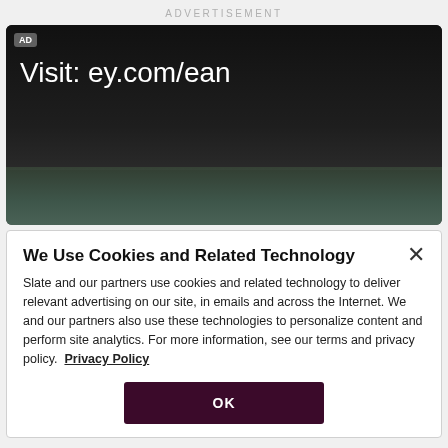ADVERTISEMENT
[Figure (screenshot): Dark advertisement video/banner with 'AD' tag badge and text 'Visit: ey.com/ean' on a dark background with a cityscape visible at the bottom]
We Use Cookies and Related Technology
Slate and our partners use cookies and related technology to deliver relevant advertising on our site, in emails and across the Internet. We and our partners also use these technologies to personalize content and perform site analytics. For more information, see our terms and privacy policy.  Privacy Policy
OK